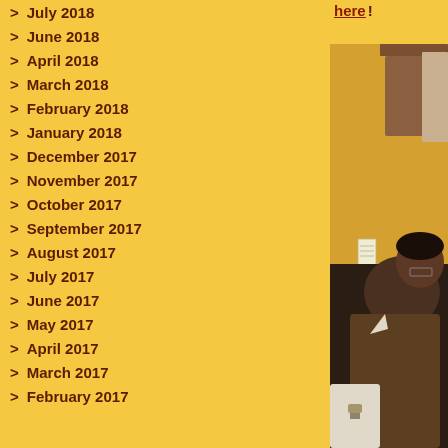here!
> July 2018
> June 2018
> April 2018
> March 2018
> February 2018
> January 2018
> December 2017
> November 2017
> October 2017
> September 2017
> August 2017
> July 2017
> June 2017
> May 2017
> April 2017
> March 2017
> February 2017
[Figure (photo): Two people seated indoors near wooden furniture against a yellow wall; one person in a brown jacket leans forward, another person in white is partially visible.]